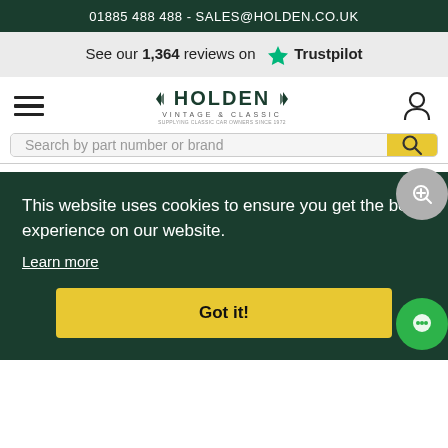01885 488 488 - SALES@HOLDEN.CO.UK
See our 1,364 reviews on Trustpilot
[Figure (logo): Holden Vintage & Classic logo with wing emblems]
Search by part number or brand
This website uses cookies to ensure you get the best experience on our website. Learn more Got it!